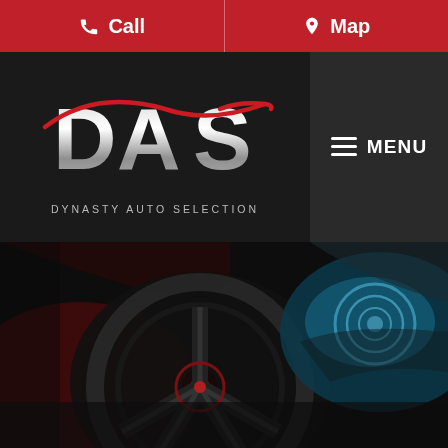Call  |  Map
[Figure (logo): DAS Dynasty Auto Selection logo — large metallic letters D A S with a red swoosh/car silhouette line over them, on black background]
≡ MENU
[Figure (photo): Dark dramatic photo of a luxury sports car showing the front wheel with red brake caliper and the front headlight area with blue ambient lighting]